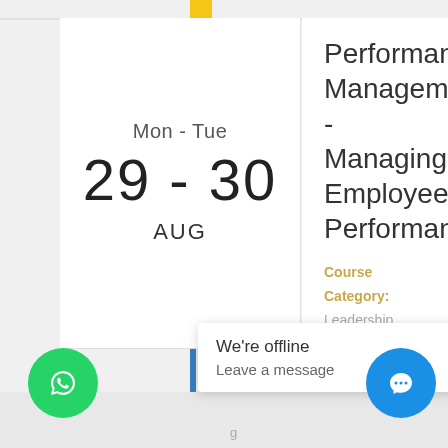Mon - Tue
29 - 30
AUG
Performance Management - Managing Employee Performance
Course Category: Leadership Development & Management Courses
Location: Dubai
DETAILS
We're offline
Leave a message